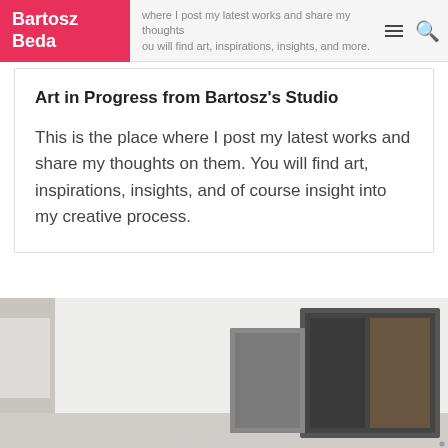Bartosz Beda — where I post my latest works and share my thoughts on them. You will find art, inspirations, insights, and more.
Art in Progress from Bartosz's Studio
This is the place where I post my latest works and share my thoughts on them. You will find art, inspirations, insights, and of course insight into my creative process.
[Figure (photo): Studio photograph showing paintings leaning against a white wall, with a dark canvas in the foreground and text 'H: 11:59 cm' visible]